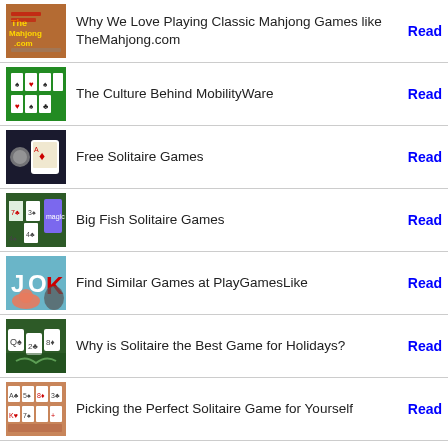Why We Love Playing Classic Mahjong Games like TheMahjong.com | Read
The Culture Behind MobilityWare | Read
Free Solitaire Games | Read
Big Fish Solitaire Games | Read
Find Similar Games at PlayGamesLike | Read
Why is Solitaire the Best Game for Holidays? | Read
Picking the Perfect Solitaire Game for Yourself | Read